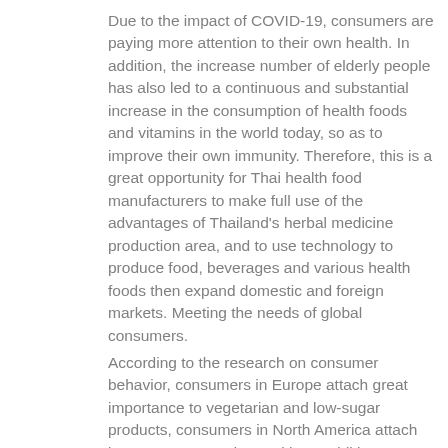Due to the impact of COVID-19, consumers are paying more attention to their own health. In addition, the increase number of elderly people has also led to a continuous and substantial increase in the consumption of health foods and vitamins in the world today, so as to improve their own immunity. Therefore, this is a great opportunity for Thai health food manufacturers to make full use of the advantages of Thailand's herbal medicine production area, and to use technology to produce food, beverages and various health foods then expand domestic and foreign markets. Meeting the needs of global consumers. According to the research on consumer behavior, consumers in Europe attach great importance to vegetarian and low-sugar products, consumers in North America attach importance to products without additives, consumers in Asia attach importance to natural products without additives, and consumers around the world favor edible capsules for health care. Food and vitamins, followed by flake, powder and liquid health products and vitamins. Global consumers' preference for pure natural health products and vitamins is much higher than synthetic products. 27% of consumers in the United States are willing to pay more money for no added health products, and 35% of